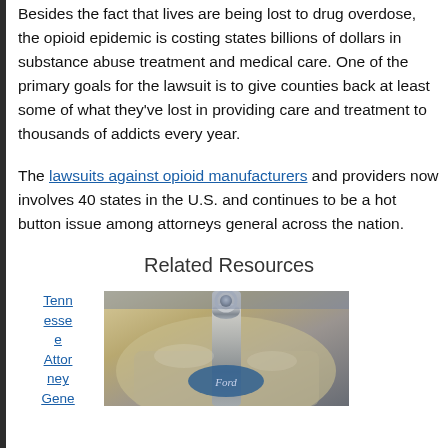Besides the fact that lives are being lost to drug overdose, the opioid epidemic is costing states billions of dollars in substance abuse treatment and medical care. One of the primary goals for the lawsuit is to give counties back at least some of what they've lost in providing care and treatment to thousands of addicts every year.
The lawsuits against opioid manufacturers and providers now involves 40 states in the U.S. and continues to be a hot button issue among attorneys general across the nation.
Related Resources
Tennessee Attorney Gene...
[Figure (photo): Close-up photo of a vintage Ford car hood ornament and chrome details]